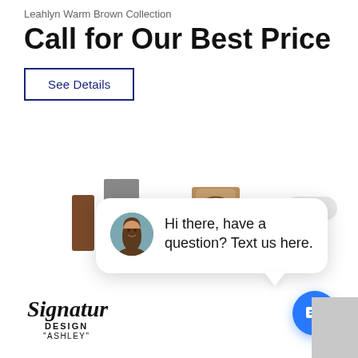Purchase As A Set & Get Extra Discounts!
Leahlyn Warm Brown Collection
Call for Our Best Price
See Details
[Figure (screenshot): Chat popup with woman avatar and text: Hi there, have a question? Text us here.]
[Figure (photo): Partial view of Leahlyn Warm Brown Collection furniture pieces]
[Figure (logo): Signature Design by Ashley logo]